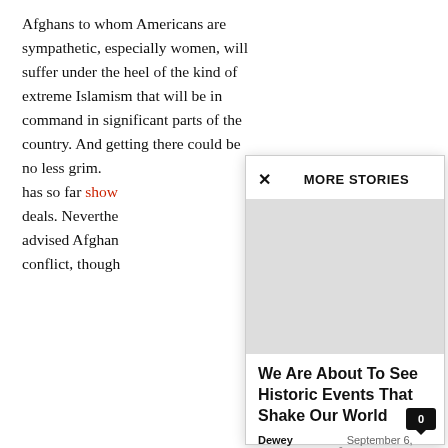Afghans to whom Americans are sympathetic, especially women, will suffer under the heel of the kind of extreme Islamism that will be in command in significant parts of the country. And getting there could be no less grim. has so far show deals. Neverthe advised Afghan conflict, though
[Figure (screenshot): A modal popup overlay showing 'MORE STORIES' header with a close (X) button, a grey image placeholder, article title 'We Are About To See Historic Events That Shake Our World', author 'Dewey Fernfield', date 'September 6, 2022', and a comment count badge showing '0'.]